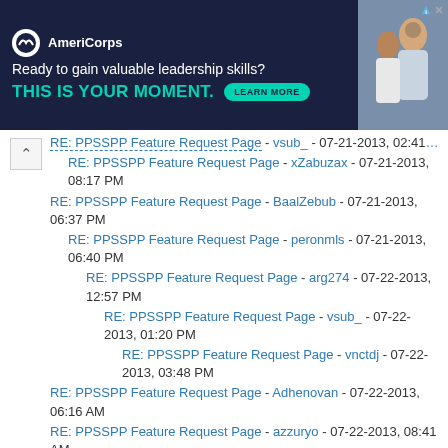[Figure (screenshot): AmeriCorps advertisement banner with dark navy background. Logo with white circle, tagline 'Ready to gain valuable leadership skills?', headline 'THIS IS YOUR MOMENT.' in teal, 'LEARN MORE' button, and photo of people on right.]
RE: PPSSPP Feature Request Page - vsub_ - 07-21-2013, 02:41 PM (truncated at top)
RE: PPSSPP Feature Request Page - xZabuzax - 07-21-2013, 08:17 PM
RE: PPSSPP Feature Request Page - BaalZebub - 07-21-2013, 06:37 PM
RE: PPSSPP Feature Request Page - peronmls - 07-21-2013, 06:40 PM
RE: PPSSPP Feature Request Page - arg274 - 07-22-2013, 12:57 PM
RE: PPSSPP Feature Request Page - vsub_ - 07-22-2013, 01:20 PM
RE: PPSSPP Feature Request Page - vnctdj - 07-22-2013, 03:48 PM
RE: PPSSPP Feature Request Page - Adhenovan - 07-22-2013, 06:16 AM
RE: PPSSPP Feature Request Page - azzuryo - 07-22-2013, 08:41 AM
RE: PPSSPP Feature Request Page - TheDax - 07-22-2013, 07:43 PM
RE: PPSSPP Feature Request Page - vnctdj - 07-22-2013, 07:57 PM
RE: PPSSPP Feature Request Page - GuilhermeGS2 - 07-22-2013, 08:04 PM
RE: PPSSPP Feature Request Page - TheDax - 07-22-2013, 08:07 PM